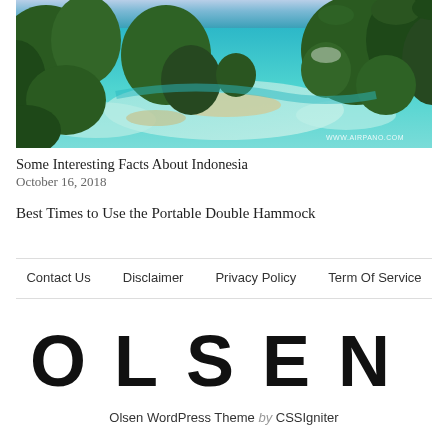[Figure (photo): Aerial panoramic photo of Indonesian islands with turquoise water, sandy shallows, and dense green vegetation. Watermark: WWW.AIRPANO.COM]
Some Interesting Facts About Indonesia
October 16, 2018
Best Times to Use the Portable Double Hammock
Contact Us   Disclaimer   Privacy Policy   Term Of Service
[Figure (logo): OLSEN logo in large spaced bold uppercase letters]
Olsen WordPress Theme by CSSIgniter